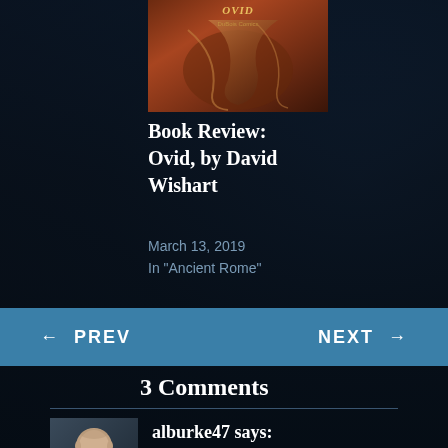[Figure (photo): Book cover for Ovid by David Wishart, showing a dark reddish-brown illustrated cover]
Book Review: Ovid, by David Wishart
March 13, 2019
In "Ancient Rome"
← PREV    NEXT →
3 Comments
[Figure (photo): Avatar photo of commenter alburke47, a bald man in a black Book Nerd t-shirt]
alburke47 says:
August 11, 2021 at 2:31 pm